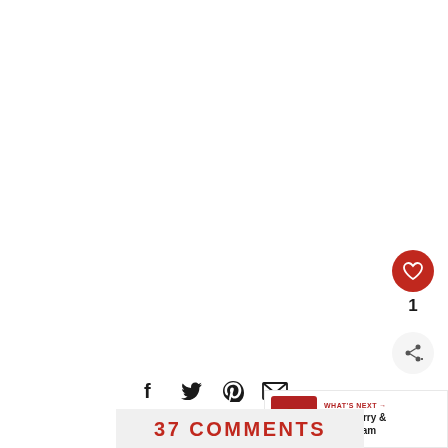[Figure (infographic): Red heart/like button circle icon (dark red)]
1
[Figure (infographic): Share button circle icon (light gray background with share icon)]
[Figure (infographic): Social sharing icons row: Facebook, Twitter, Pinterest, Email]
[Figure (infographic): What's Next panel with strawberry jam thumbnail and text: WHAT'S NEXT → Strawberry & Peach Jam]
37 COMMENTS